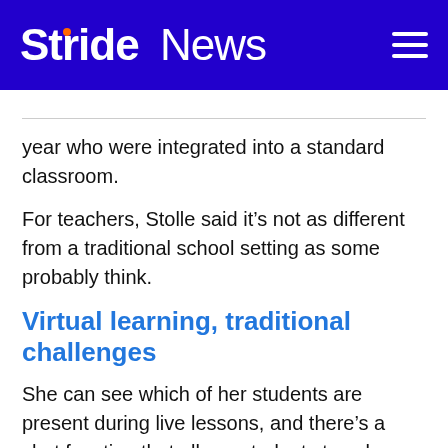Stride News
year who were integrated into a standard classroom.
For teachers, Stolle said it’s not as different from a traditional school setting as some probably think.
Virtual learning, traditional challenges
She can see which of her students are present during live lessons, and there’s a chat function that allows students to ask questions. She still has to deliver the material in a way that’s engaging for her students and ensure that she’s differentiating her lessons to meet the needs of kids at various learning levels.
And there is more text continuing into the bottom...